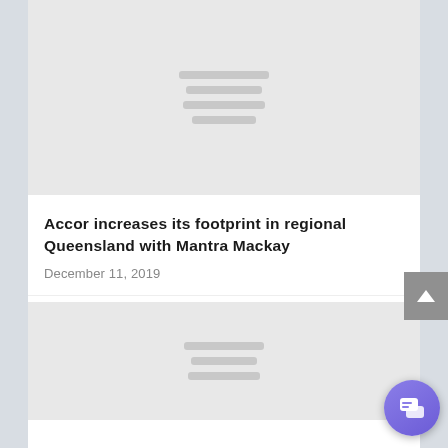[Figure (other): Gray placeholder image with horizontal lines representing an article thumbnail]
Accor increases its footprint in regional Queensland with Mantra Mackay
December 11, 2019
[Figure (other): Gray placeholder image with horizontal lines representing a second article thumbnail]